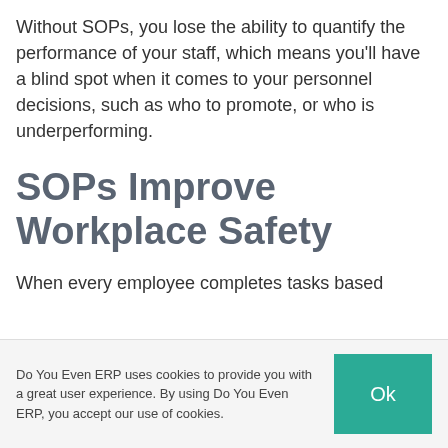Without SOPs, you lose the ability to quantify the performance of your staff, which means you'll have a blind spot when it comes to your personnel decisions, such as who to promote, or who is underperforming.
SOPs Improve Workplace Safety
When every employee completes tasks based
Do You Even ERP uses cookies to provide you with a great user experience. By using Do You Even ERP, you accept our use of cookies.